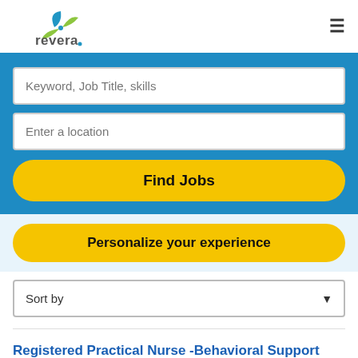[Figure (logo): Revera logo with green and blue leaf graphic and 'revera' text]
Keyword, Job Title, skills
Enter a location
Find Jobs
Personalize your experience
Sort by
Registered Practical Nurse -Behavioral Support (BSO)
NEW